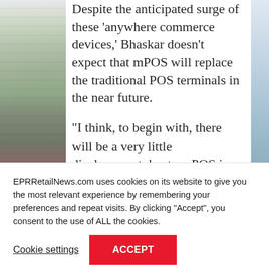[Figure (photo): Partial view of a retail or store image on the left side strip, with another partial image strip on the right edge]
Despite the anticipated surge of these ‘anywhere commerce devices,’ Bhaskar doesn’t expect that mPOS will replace the traditional POS terminals in the near future.
“I think, to begin with, there will be a very little displacement due to mPOS in emerging markets like India where traditional POS systems are still ruling the
EPRRetailNews.com uses cookies on its website to give you the most relevant experience by remembering your preferences and repeat visits. By clicking “Accept”, you consent to the use of ALL the cookies.